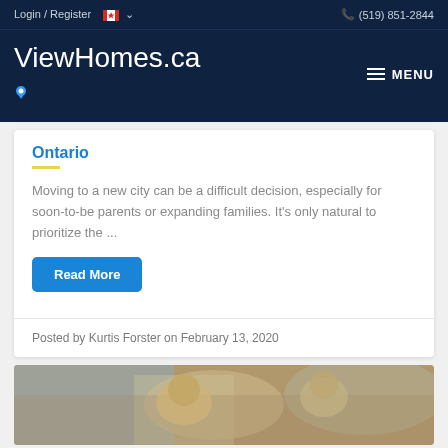Login / Register  (519) 851-2844
ViewHomes.ca
Ontario
Moving to a new city can be a difficult decision, especially for soon-to-be parents or expanding families. It's only natural to prioritize the ...
Read More
Posted by Kurtis Forster on February 13, 2020
[Figure (photo): Children in a classroom setting, blurred background photo]